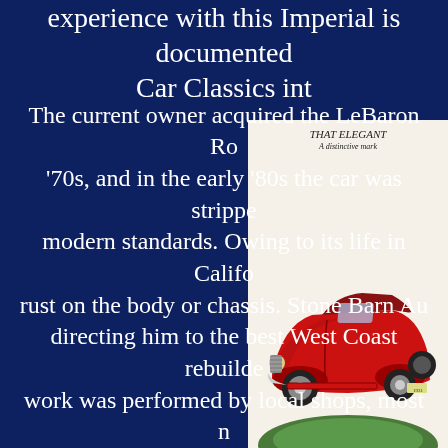experience with this Imperial is documented... Car Classics int
[Figure (photo): Vintage car advertisement image showing a red classic convertible automobile, with text 'THAT ELEGANT' at top and 'ALKER'S DELUXE / That elegant straight 8' at bottom, on a cream/beige background]
The current owner acquired the LeBaron Ro... '70s, and in the early '80s the car was strippe... modern standards. Owing to its life in Califo... rust on the body or chassis. Stone Barn Au... directing him to the best West Coast rebuilde... work was performed by local shops, most n...